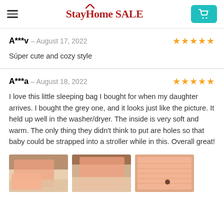StayHome SALE
A***v – August 17, 2022 ★★★★★
Súper cute and cozy style
A***a – August 18, 2022 ★★★★★
I love this little sleeping bag I bought for when my daughter arrives. I bought the grey one, and it looks just like the picture. It held up well in the washer/dryer. The inside is very soft and warm. The only thing they didn't think to put are holes so that baby could be strapped into a stroller while in this. Overall great!
[Figure (photo): Three thumbnail photos of a baby sleeping bag in peach/orange color]